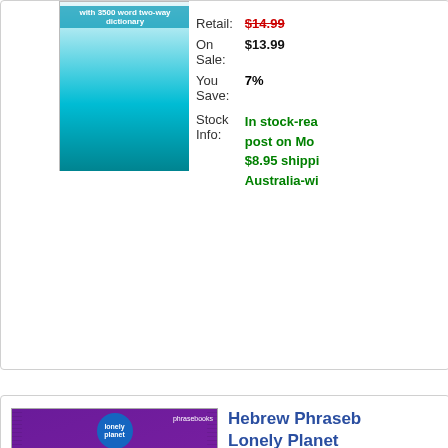[Figure (photo): Top of first product card partially visible, showing a book cover with cyan/teal coloring and text 'with 3500 word two-way dictionary']
Retail:
$14.99
On Sale:
$13.99
You Save:
7%
Stock Info:
In stock-rea post on Mo $8.95 shippi Australia-wi
Hebrew Phraseb Lonely Planet
with 3500 two-way dic
[Figure (photo): Hebrew Phrasebook Lonely Planet book cover with purple background, orange landscape, olive tree, figures, and text 'Hebrew' in white]
Retail:
$14.99
On Sale:
$13.99
You Save:
7%
Stock Info:
In stock-rea post on Mo $8.95 shippi Australia-wi